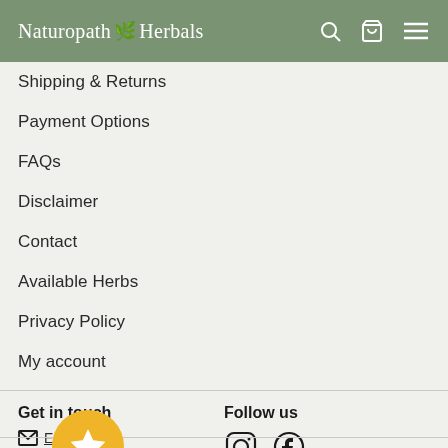Naturopath Herbals
Shipping & Returns
Payment Options
FAQs
Disclaimer
Contact
Available Herbs
Privacy Policy
My account
Get in touch
Follow us
Email us
[Figure (illustration): Gold circular badge with star icon]
[Figure (illustration): Instagram and Facebook social media icons]
We accept
Language